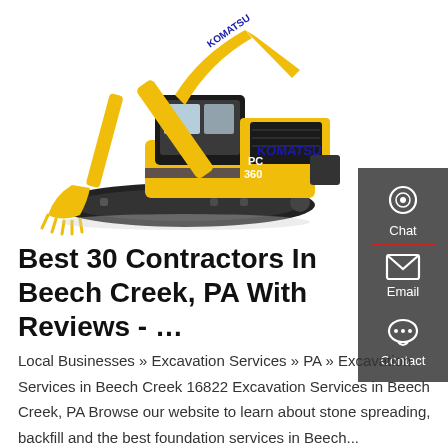[Figure (photo): Yellow Komatsu PC360 excavator on white background]
Best 30 Contractors In Beech Creek, PA With Reviews - ...
Local Businesses » Excavation Services » PA » Excavation Services in Beech Creek 16822 Excavation Services in Beech Creek, PA Browse our website to learn about stone spreading, backfill and the best foundation services in Beech...